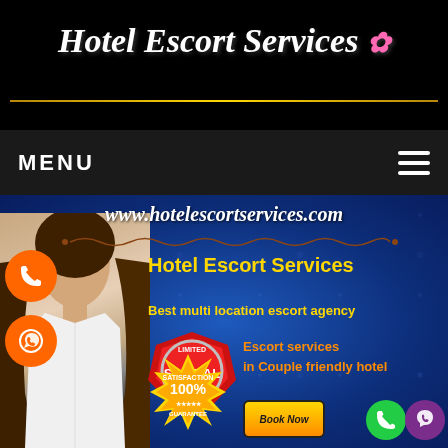Hotel Escort Services
MENU
[Figure (screenshot): Website banner for Hotel Escort Services showing a woman in white top against blue decorative background, with text: www.hotelescortservices.com, Hotel Escort Services, Best multi location escort agency, Escort services in Couple friendly hotel, Limited Special Offer badge, 100% Satisfaction Guarantee badge, Book Now button, phone and WhatsApp icons]